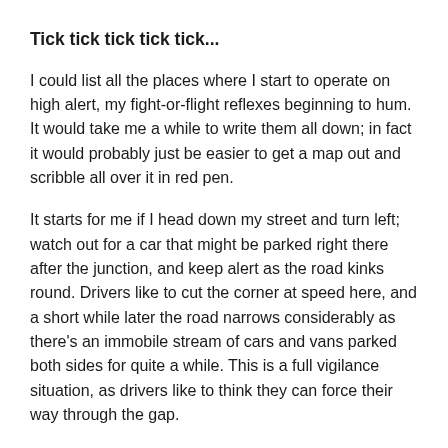Tick tick tick tick tick...
I could list all the places where I start to operate on high alert, my fight-or-flight reflexes beginning to hum. It would take me a while to write them all down; in fact it would probably just be easier to get a map out and scribble all over it in red pen.
It starts for me if I head down my street and turn left; watch out for a car that might be parked right there after the junction, and keep alert as the road kinks round. Drivers like to cut the corner at speed here, and a short while later the road narrows considerably as there's an immobile stream of cars and vans parked both sides for quite a while. This is a full vigilance situation, as drivers like to think they can force their way through the gap.